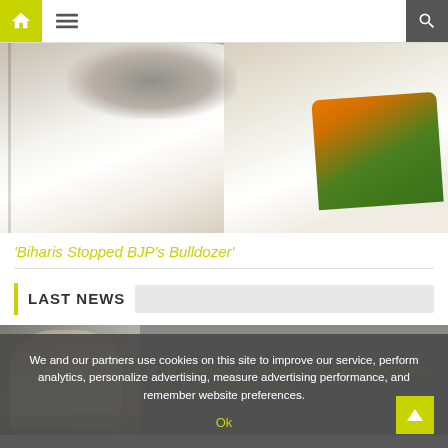Navigation bar with home, menu, and search icons
[Figure (photo): Close-up photo of political figures in white kurtas; one figure wearing an orange and green scarf/sash]
'Biharis Stopped BJP's Bulldozer'
LAST NEWS
[Figure (photo): Thumbnail image of a person for a news card]
KYM MARSH, 45, BECOMES A GRANDMOTHER FOR THE SECOND TIME
We and our partners use cookies on this site to improve our service, perform analytics, personalize advertising, measure advertising performance, and remember website preferences.
Ok